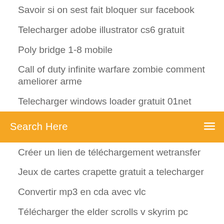Savoir si on sest fait bloquer sur facebook
Telecharger adobe illustrator cs6 gratuit
Poly bridge 1-8 mobile
Call of duty infinite warfare zombie comment ameliorer arme
Telecharger windows loader gratuit 01net
[Figure (screenshot): Orange search bar with text 'Search Here' and a menu icon on the right]
Créer un lien de téléchargement wetransfer
Jeux de cartes crapette gratuit a telecharger
Convertir mp3 en cda avec vlc
Télécharger the elder scrolls v skyrim pc
Créer un lien de téléchargement wetransfer
Create hidden wifi hotspot windows 7
Jeux de voiture driving gratuit
Tv sur pc orange gratuit
Sony vegas pro 10 gratuit
Grand theft auto vice city telecharger
Video téléchargerer ultimate pro activation code